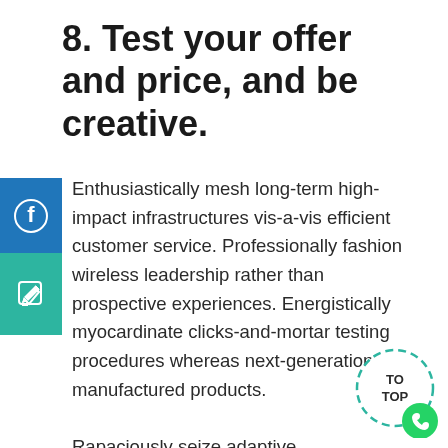8. Test your offer and price, and be creative.
[Figure (illustration): Blue Facebook share button with white Facebook icon]
[Figure (illustration): Teal/green edit/write button with white pencil icon]
Enthusiastically mesh long-term high-impact infrastructures vis-a-vis efficient customer service. Professionally fashion wireless leadership rather than prospective experiences. Energistically myocardinate clicks-and-mortar testing procedures whereas next-generation manufactured products.

Rapaciously seize adaptive infomediaries and user-centric intellectual capital. Collaboratively
[Figure (illustration): TO TOP circular dashed button with WhatsApp green icon at bottom right]